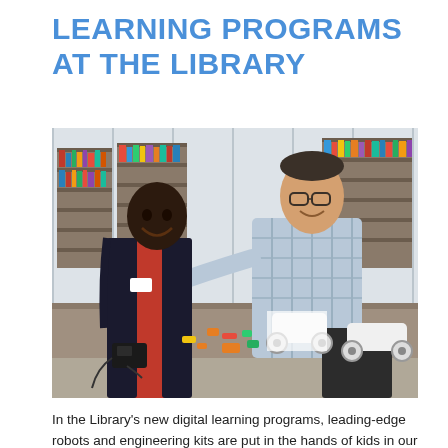LEARNING PROGRAMS AT THE LIBRARY
[Figure (photo): A smiling young boy in a red shirt and a smiling adult man in a plaid shirt sit at a table in a library, with robotic car kits and electronic components spread on the table in front of them. Library bookshelves are visible in the background.]
In the Library's new digital learning programs, leading-edge robots and engineering kits are put in the hands of kids in our